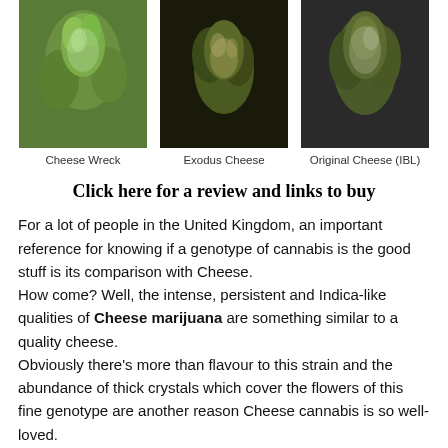[Figure (photo): Three photos of cannabis plants: Cheese Wreck (green buds on light background), Exodus Cheese (dense buds on dark background), Original Cheese IBL (buds on dark background)]
Cheese Wreck    Exodus Cheese    Original Cheese (IBL)
Click here for a review and links to buy
For a lot of people in the United Kingdom, an important reference for knowing if a genotype of cannabis is the good stuff is its comparison with Cheese.
How come? Well, the intense, persistent and Indica-like qualities of Cheese marijuana are something similar to a quality cheese.
Obviously there’s more than flavour to this strain and the abundance of thick crystals which cover the flowers of this fine genotype are another reason Cheese cannabis is so well-loved.